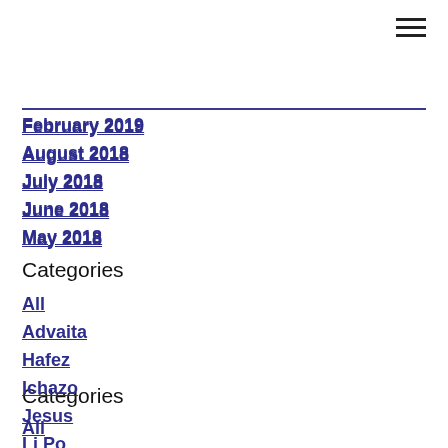February 2019
August 2018
July 2018
June 2018
May 2018
Categories
All
Advaita
Hafez
Ichazo
Jesus
Li Po
Mirabai
Mystical Musings
Mystic Poetry
Naranjo